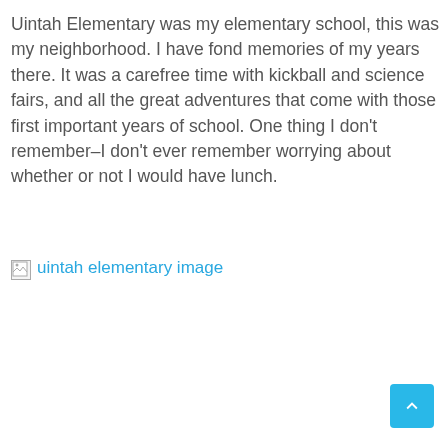Uintah Elementary was my elementary school, this was my neighborhood. I have fond memories of my years there. It was a carefree time with kickball and science fairs, and all the great adventures that come with those first important years of school. One thing I don't remember–I don't ever remember worrying about whether or not I would have lunch.
[Figure (photo): Broken image placeholder with alt text 'uintah elementary image' shown in blue link color]